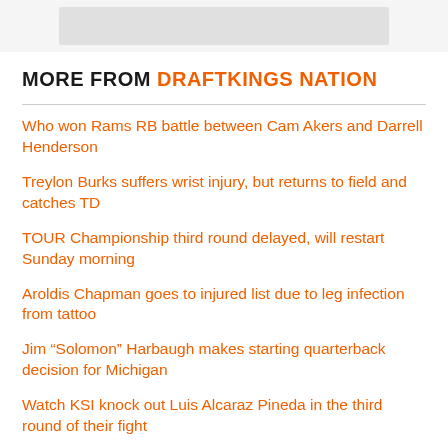[Figure (other): Blurred/placeholder image banner at top of page]
MORE FROM DRAFTKINGS NATION
Who won Rams RB battle between Cam Akers and Darrell Henderson
Treylon Burks suffers wrist injury, but returns to field and catches TD
TOUR Championship third round delayed, will restart Sunday morning
Aroldis Chapman goes to injured list due to leg infection from tattoo
Jim “Solomon” Harbaugh makes starting quarterback decision for Michigan
Watch KSI knock out Luis Alcaraz Pineda in the third round of their fight